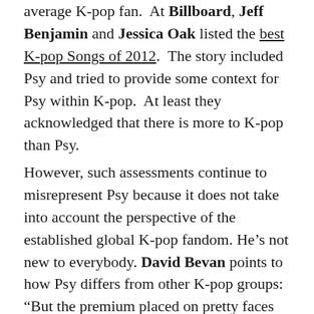average K-pop fan.  At Billboard, Jeff Benjamin and Jessica Oak listed the best K-pop Songs of 2012.  The story included Psy and tried to provide some context for Psy within K-pop.  At least they acknowledged that there is more to K-pop than Psy.
However, such assessments continue to misrepresent Psy because it does not take into account the perspective of the established global K-pop fandom. He’s not new to everybody. David Bevan points to how Psy differs from other K-pop groups: “But the premium placed on pretty faces during the ‘idol’ recruiting process and chiseled bodies in the highly streamlined, military-like training